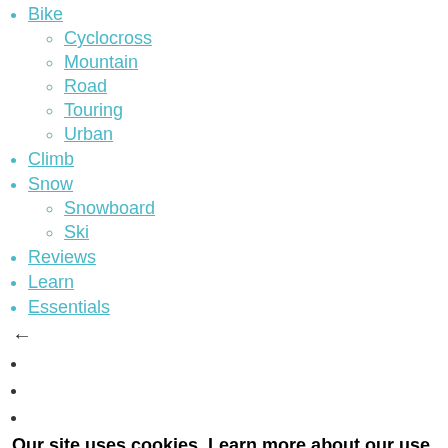Bike
Cyclocross
Mountain
Road
Touring
Urban
Climb
Snow
Snowboard
Ski
Reviews
Learn
Essentials
←
Our site uses cookies. Learn more about our use of cookies: Cookie Policy
ACCEPT